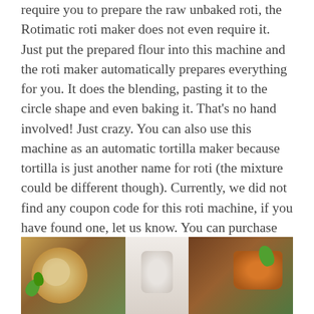require you to prepare the raw unbaked roti, the Rotimatic roti maker does not even require it. Just put the prepared flour into this machine and the roti maker automatically prepares everything for you. It does the blending, pasting it to the circle shape and even baking it. That's no hand involved! Just crazy. You can also use this machine as an automatic tortilla maker because tortilla is just another name for roti (the mixture could be different though). Currently, we did not find any coupon code for this roti machine, if you have found one, let us know. You can purchase the product HERE
[Figure (photo): Food photo showing three dishes: a bowl of curry/soup on the left, a white container in the middle, and spiced chicken with herbs on the right]